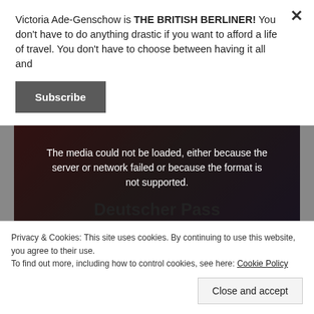Victoria Ade-Genschow is THE BRITISH BERLINER! You don't have to do anything drastic if you want to afford a life of travel. You don't have to choose between having it all and
[Figure (screenshot): Subscribe button (dark gray rectangle with white bold text 'Subscribe')]
[Figure (screenshot): Video media player showing error message 'The media could not be loaded, either because the server or network failed or because the format is not supported.' overlaid on a dark image with German text 'Deutscher Pass statt Brexit-Chaos' and a large X close icon.]
Privacy & Cookies: This site uses cookies. By continuing to use this website, you agree to their use.
To find out more, including how to control cookies, see here: Cookie Policy
[Figure (screenshot): Close and accept button (light gray rectangle)]